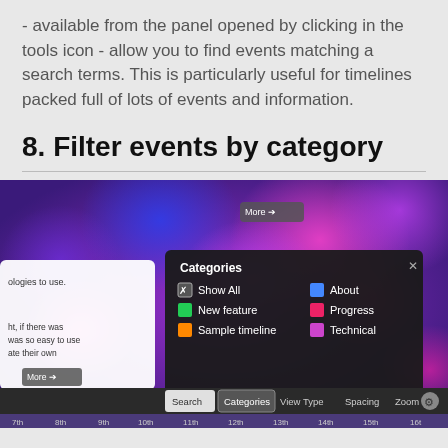- available from the panel opened by clicking in the tools icon - allow you to find events matching a search terms. This is particularly useful for timelines packed full of lots of events and information.
8. Filter events by category
[Figure (screenshot): Screenshot of a timeline application showing a Categories panel with options: Show All, About, New feature, Progress, Sample timeline, Technical. The background is a colorful bokeh purple/pink/blue image. The bottom toolbar shows tabs: Search, Categories, View Type, Spacing, Zoom. Date markers visible at bottom: 7th through 16th.]